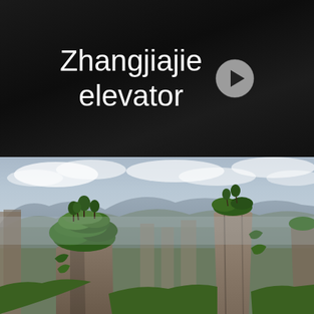[Figure (screenshot): Video thumbnail with dark/black background showing text 'Zhangjiajie elevator' in white sans-serif font with a circular play button icon to the right]
[Figure (photo): Photograph of Zhangjiajie National Forest Park showing dramatic tall sandstone pillar mountains covered with green trees and vegetation, with a cloudy blue-grey sky, misty mountains in the background]